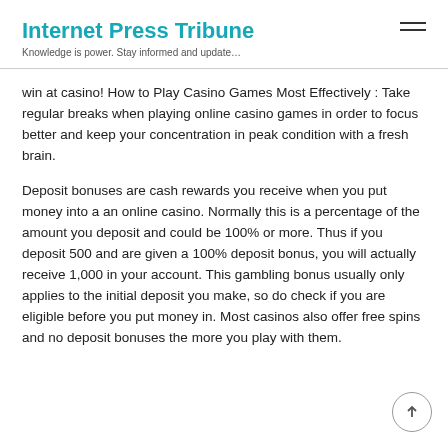Internet Press Tribune
Knowledge is power. Stay informed and update…
win at casino! How to Play Casino Games Most Effectively : Take regular breaks when playing online casino games in order to focus better and keep your concentration in peak condition with a fresh brain.
Deposit bonuses are cash rewards you receive when you put money into a an online casino. Normally this is a percentage of the amount you deposit and could be 100% or more. Thus if you deposit 500 and are given a 100% deposit bonus, you will actually receive 1,000 in your account. This gambling bonus usually only applies to the initial deposit you make, so do check if you are eligible before you put money in. Most casinos also offer free spins and no deposit bonuses the more you play with them.